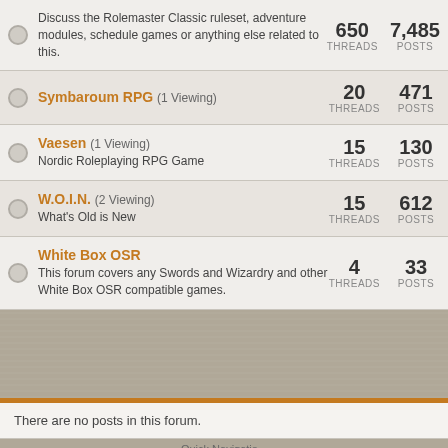Rolemaster Classic: Discuss the Rolemaster Classic ruleset, adventure modules, schedule games or anything else related to this. THREADS: 650, POSTS: 7,485
Symbaroum RPG (1 Viewing): THREADS: 20, POSTS: 471
Vaesen (1 Viewing): Nordic Roleplaying RPG Game. THREADS: 15, POSTS: 130
W.O.I.N. (2 Viewing): What's Old is New. THREADS: 15, POSTS: 612
White Box OSR: This forum covers any Swords and Wizardry and other White Box OSR compatible games. THREADS: 4, POSTS: 33
There are no posts in this forum.